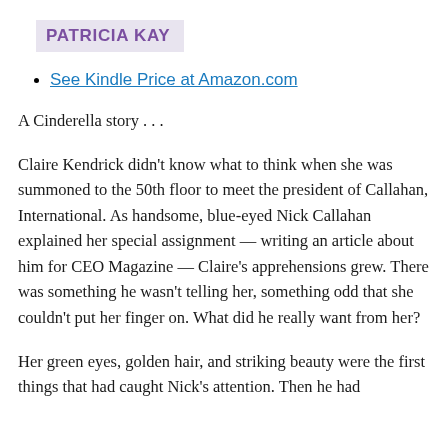PATRICIA KAY
See Kindle Price at Amazon.com
A Cinderella story . . .
Claire Kendrick didn't know what to think when she was summoned to the 50th floor to meet the president of Callahan, International. As handsome, blue-eyed Nick Callahan explained her special assignment — writing an article about him for CEO Magazine — Claire's apprehensions grew. There was something he wasn't telling her, something odd that she couldn't put her finger on. What did he really want from her?
Her green eyes, golden hair, and striking beauty were the first things that had caught Nick's attention. Then he had